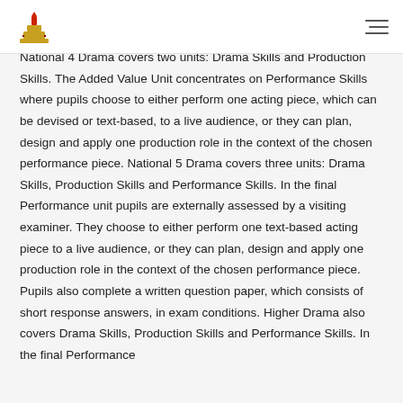National 4 Drama covers two units: Drama Skills and Production Skills. The Added Value Unit concentrates on Performance Skills where pupils choose to either perform one acting piece, which can be devised or text-based, to a live audience, or they can plan, design and apply one production role in the context of the chosen performance piece. National 5 Drama covers three units: Drama Skills, Production Skills and Performance Skills. In the final Performance unit pupils are externally assessed by a visiting examiner. They choose to either perform one text-based acting piece to a live audience, or they can plan, design and apply one production role in the context of the chosen performance piece. Pupils also complete a written question paper, which consists of short response answers, in exam conditions. Higher Drama also covers Drama Skills, Production Skills and Performance Skills. In the final Performance